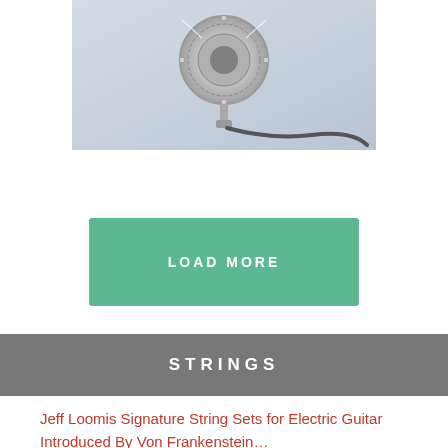[Figure (photo): Close-up photo of a silver condenser microphone on a stand with cable, light grey background]
LOAD MORE
STRINGS
Jeff Loomis Signature String Sets for Electric Guitar Introduced By Von Frankenstein…
[Figure (photo): Jeff Loomis promotional image with long blond hair, dark background with green grid, and purple 'JEFF LOOMIS' text logo, with 'JL11156' label in yellow]